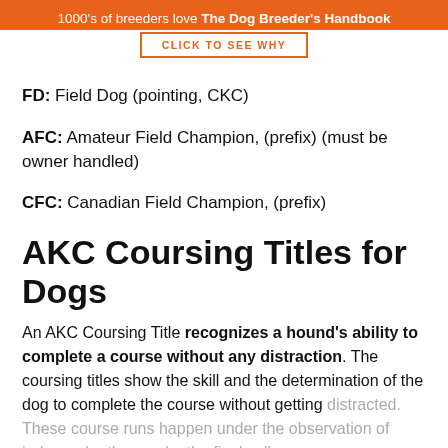1000's of breeders love The Dog Breeder's Handbook
FD: Field Dog (pointing, CKC)
AFC: Amateur Field Champion, (prefix) (must be owner handled)
CFC: Canadian Field Champion, (prefix)
AKC Coursing Titles for Dogs
An AKC Coursing Title recognizes a hound's ability to complete a course without any distraction. The coursing titles show the skill and the determination of the dog to complete the course without getting distracted. These course runs happen under the observation of judges who then make the final call...